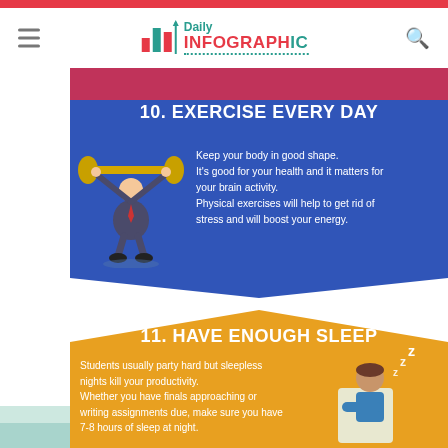Daily Infographic
[Figure (infographic): Daily Infographic website header with hamburger menu, logo with bar chart icon, and search icon]
[Figure (infographic): Section 10: Exercise Every Day - blue chevron banner with illustration of person lifting weights and descriptive text]
10. EXERCISE EVERY DAY
Keep your body in good shape. It's good for your health and it matters for your brain activity. Physical exercises will help to get rid of stress and will boost your energy.
[Figure (infographic): Section 11: Have Enough Sleep - orange chevron banner with illustration of sleeping person and descriptive text]
11. HAVE ENOUGH SLEEP
Students usually party hard but sleepless nights kill your productivity. Whether you have finals approaching or writing assignments due, make sure you have 7-8 hours of sleep at night.